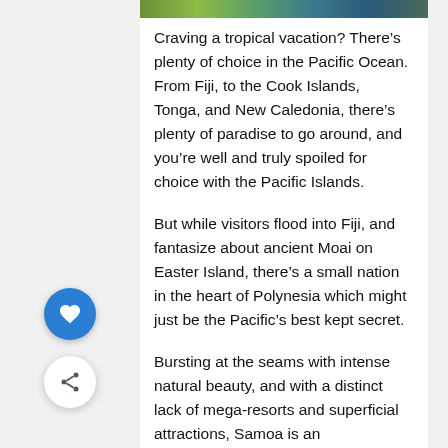[Figure (photo): Top strip of a tropical/nature photo partially visible at the top of the content area]
Craving a tropical vacation? There’s plenty of choice in the Pacific Ocean. From Fiji, to the Cook Islands, Tonga, and New Caledonia, there’s plenty of paradise to go around, and you’re well and truly spoiled for choice with the Pacific Islands.
But while visitors flood into Fiji, and fantasize about ancient Moai on Easter Island, there’s a small nation in the heart of Polynesia which might just be the Pacific’s best kept secret.
Bursting at the seams with intense natural beauty, and with a distinct lack of mega-resorts and superficial attractions, Samoa is an